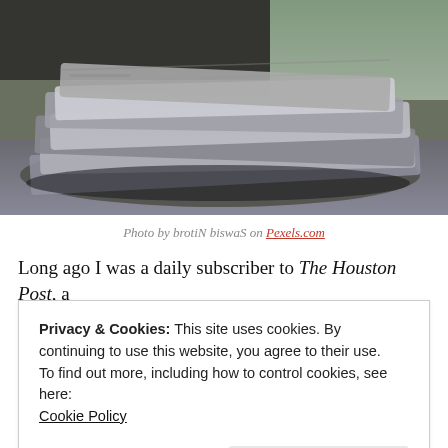[Figure (photo): Stack of folded newspapers on a dark wooden table, photographed at close range with shallow depth of field and blurred background.]
Photo by brotiN biswaS on Pexels.com
Long ago I was a daily subscriber to The Houston Post, a
Privacy & Cookies: This site uses cookies. By continuing to use this website, you agree to their use.
To find out more, including how to control cookies, see here:
Cookie Policy

Close and accept